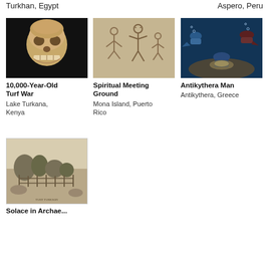Turkhan, Egypt
Aspero, Peru
[Figure (photo): Human skull artifact on black background]
10,000-Year-Old Turf War
Lake Turkana, Kenya
[Figure (photo): Ancient petroglyphs/rock art showing stick figures on stone surface]
Spiritual Meeting Ground
Mona Island, Puerto Rico
[Figure (photo): Underwater divers excavating/working on the seafloor]
Antikythera Man
Antikythera, Greece
[Figure (photo): Old sepia/black-and-white photograph of a landscape with trees and a fence]
Solace in Archaeology...